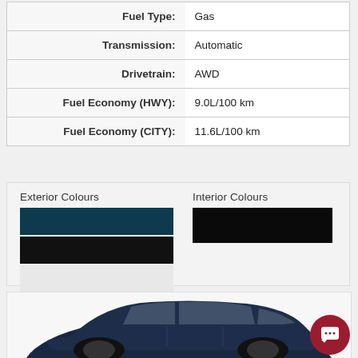| Field | Value |
| --- | --- |
| Fuel Type: | Gas |
| Transmission: | Automatic |
| Drivetrain: | AWD |
| Fuel Economy (HWY): | 9.0L/100 km |
| Fuel Economy (CITY): | 11.6L/100 km |
[Figure (infographic): Exterior Colours: dark teal/navy, black, white/silver, gray. Interior Colours: black.]
[Figure (photo): Dark navy blue SUV/hatchback vehicle shown from the side, partially cropped at the bottom of the page.]